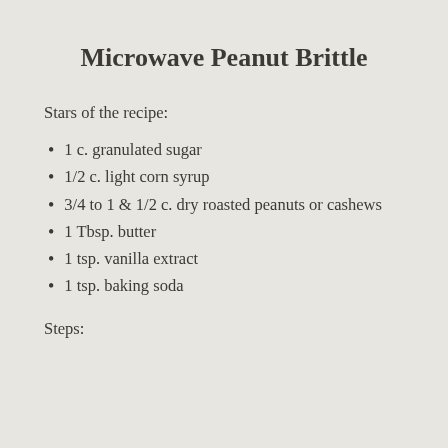Microwave Peanut Brittle
Stars of the recipe:
1 c. granulated sugar
1/2 c. light corn syrup
3/4 to 1 & 1/2 c. dry roasted peanuts or cashews
1 Tbsp. butter
1 tsp. vanilla extract
1 tsp. baking soda
Steps: